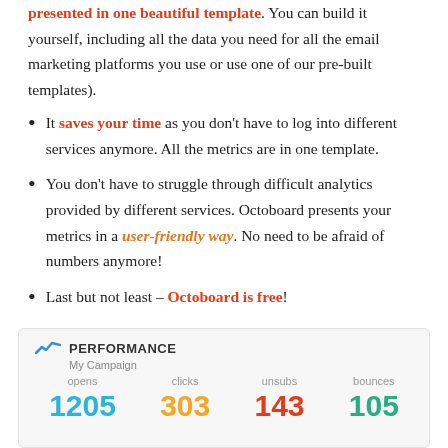presented in one beautiful template. You can build it yourself, including all the data you need for all the email marketing platforms you use or use one of our pre-built templates).
It saves your time as you don't have to log into different services anymore. All the metrics are in one template.
You don't have to struggle through difficult analytics provided by different services. Octoboard presents your metrics in a user-friendly way. No need to be afraid of numbers anymore!
Last but not least – Octoboard is free!
[Figure (infographic): Dashboard widget showing PERFORMANCE metrics for My Campaign: opens 1205, clicks 303, unsubs 143, bounces 105]